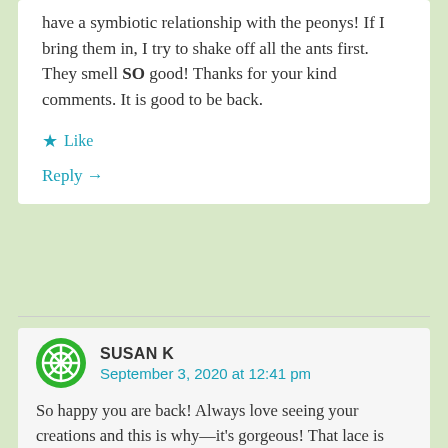have a symbiotic relationship with the peonys! If I bring them in, I try to shake off all the ants first. They smell SO good! Thanks for your kind comments. It is good to be back.
Like
Reply →
SUSAN K
September 3, 2020 at 12:41 pm
So happy you are back! Always love seeing your creations and this is why—it's gorgeous! That lace is perfect with the lovely peony. Hope Iowa is recovering!